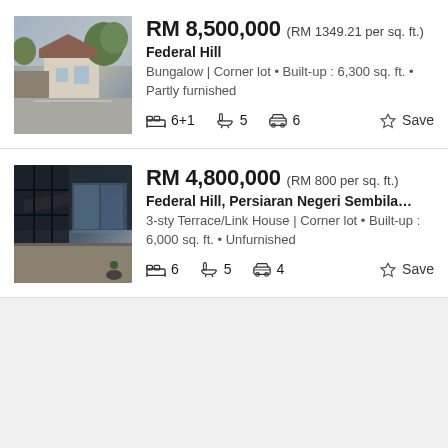[Figure (photo): Exterior view of a bungalow with stone walls and a wide driveway surrounded by trees]
RM 8,500,000 (RM 1349.21 per sq. ft.)
Federal Hill
Bungalow | Corner lot • Built-up : 6,300 sq. ft. • Partly furnished
6+1 bedrooms, 5 bathrooms, 6 car parks, Save
[Figure (photo): Modern terrace house exterior with dark panels and an open terrace area]
RM 4,800,000 (RM 800 per sq. ft.)
Federal Hill, Persiaran Negeri Sembilan, Bangsar, Fe...
3-sty Terrace/Link House | Corner lot • Built-up : 6,000 sq. ft. • Unfurnished
6 bedrooms, 5 bathrooms, 4 car parks, Save